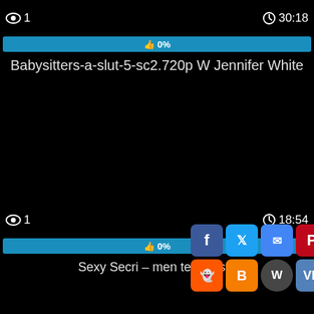[Figure (screenshot): Video thumbnail with view count '1', duration '30:18', 0% like bar, and title 'Babysitters-a-slut-5-sc2.720p W Jennifer White']
[Figure (screenshot): Second video card with view count '1', duration '18:54', 0% like bar, and partial title 'Sexy Se[crets]ri[es] – [som]e[thi]n[g] Industri[al]'; social share buttons overlay: Facebook, Twitter, Email, Pinterest, Tumblr, up-arrow, Reddit, Blogger, WordPress, VK, plus]